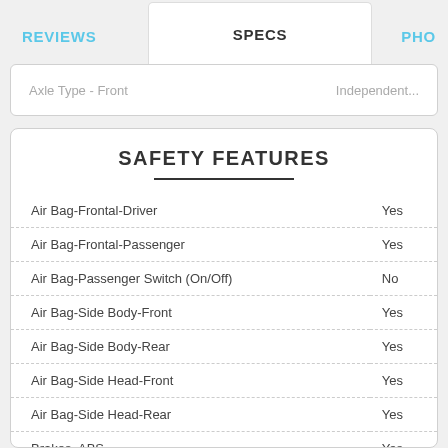REVIEWS   SPECS   PHO
Axle Type - Front   Independent...
SAFETY FEATURES
| Feature | Value |
| --- | --- |
| Air Bag-Frontal-Driver | Yes |
| Air Bag-Frontal-Passenger | Yes |
| Air Bag-Passenger Switch (On/Off) | No |
| Air Bag-Side Body-Front | Yes |
| Air Bag-Side Body-Rear | Yes |
| Air Bag-Side Head-Front | Yes |
| Air Bag-Side Head-Rear | Yes |
| Brakes, ABS | Yes |